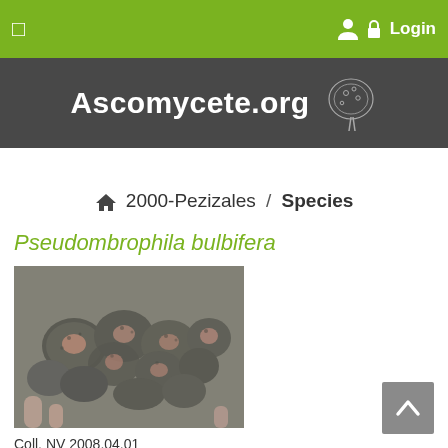☰   👤 🔒 Login
Ascomycete.org
🏠 2000-Pezizales / Species
Pseudombrophila bulbifera
[Figure (photo): Close-up photograph of Pseudombrophila bulbifera fungal fruiting bodies, showing clustered small dark grey hairy cups with pinkish-brown interiors, on plant material.]
Coll. NV 2008.04.01